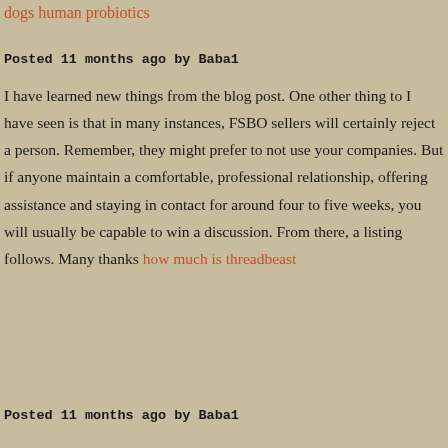dogs human probiotics
Posted 11 months ago by Baba1
I have learned new things from the blog post. One other thing to I have seen is that in many instances, FSBO sellers will certainly reject a person. Remember, they might prefer to not use your companies. But if anyone maintain a comfortable, professional relationship, offering assistance and staying in contact for around four to five weeks, you will usually be capable to win a discussion. From there, a listing follows. Many thanks how much is threadbeast
Posted 11 months ago by Baba1